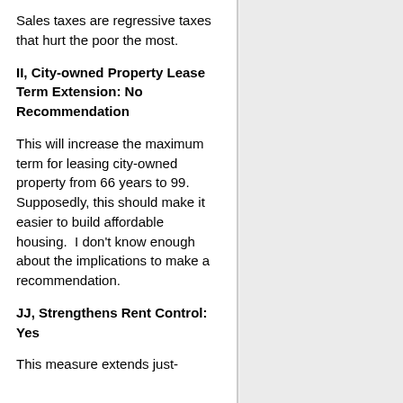Sales taxes are regressive taxes that hurt the poor the most.
II, City-owned Property Lease Term Extension: No Recommendation
This will increase the maximum term for leasing city-owned property from 66 years to 99. Supposedly, this should make it easier to build affordable housing.  I don't know enough about the implications to make a recommendation.
JJ, Strengthens Rent Control: Yes
This measure extends just-